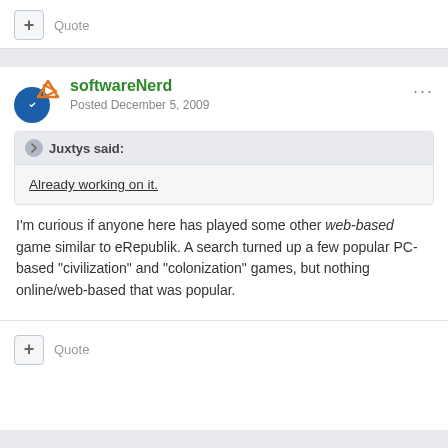Quote
softwareNerd
Posted December 5, 2009
Juxtys said:
Already working on it.
I'm curious if anyone here has played some other web-based game similar to eRepublik. A search turned up a few popular PC-based "civilization" and "colonization" games, but nothing online/web-based that was popular.
Quote